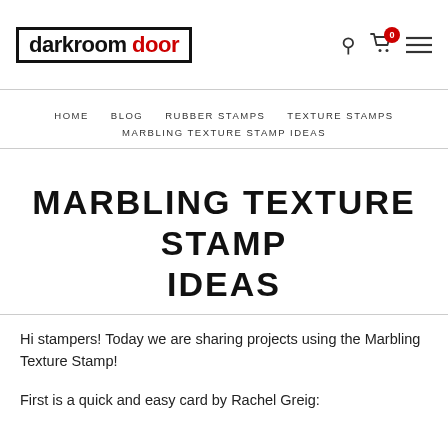[Figure (logo): Darkroom Door logo: black bold text in a black border box, with 'darkroom' in black and 'door' in red]
darkroom door [logo] | search icon | cart icon (0) | menu icon
HOME   BLOG   RUBBER STAMPS   TEXTURE STAMPS   MARBLING TEXTURE STAMP IDEAS
MARBLING TEXTURE STAMP IDEAS
Hi stampers! Today we are sharing projects using the Marbling Texture Stamp!
First is a quick and easy card by Rachel Greig: